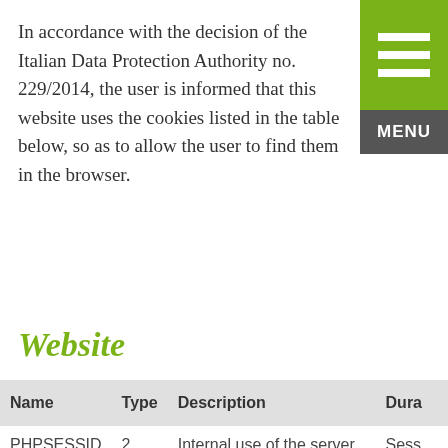In accordance with the decision of the Italian Data Protection Authority no. 229/2014, the user is informed that this website uses the cookies listed in the table below, so as to allow the user to find them in the browser.
Website
| Name | Type | Description | Duration |
| --- | --- | --- | --- |
| PHPSESSID | 2 | Internal use of the server to identify the user session | Sess… |